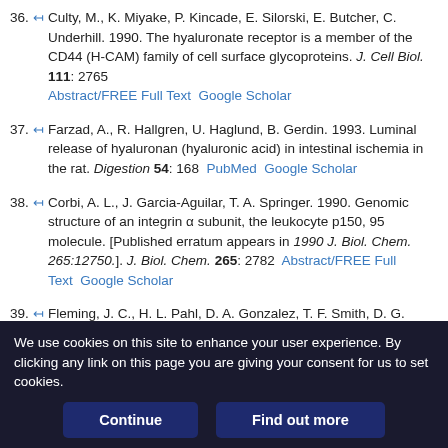36. ↤ Culty, M., K. Miyake, P. Kincade, E. Silorski, E. Butcher, C. Underhill. 1990. The hyaluronate receptor is a member of the CD44 (H-CAM) family of cell surface glycoproteins. J. Cell Biol. 111: 2765  Abstract/FREE Full Text  Google Scholar
37. ↤ Farzad, A., R. Hallgren, U. Haglund, B. Gerdin. 1993. Luminal release of hyaluronan (hyaluronic acid) in intestinal ischemia in the rat. Digestion 54: 168  PubMed  Google Scholar
38. ↤ Corbi, A. L., J. Garcia-Aguilar, T. A. Springer. 1990. Genomic structure of an integrin α subunit, the leukocyte p150, 95 molecule. [Published erratum appears in 1990 J. Biol. Chem. 265:12750.]. J. Biol. Chem. 265: 2782  Abstract/FREE Full Text  Google Scholar
39. ↤ Fleming, J. C., H. L. Pahl, D. A. Gonzalez, T. F. Smith, D. G. Tenen. 1993. Structural analysis of the CD11b gene and phylogenetic analysis of the α-integrin gene family demonstrate remarkable conservation of
We use cookies on this site to enhance your user experience. By clicking any link on this page you are giving your consent for us to set cookies.